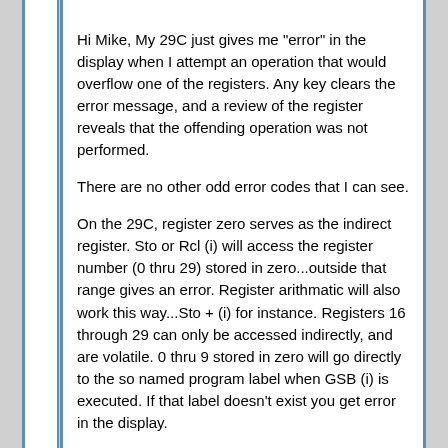Hi Mike, My 29C just gives me "error" in the display when I attempt an operation that would overflow one of the registers. Any key clears the error message, and a review of the register reveals that the offending operation was not performed.
There are no other odd error codes that I can see.
On the 29C, register zero serves as the indirect register. Sto or Rcl (i) will access the register number (0 thru 29) stored in zero...outside that range gives an error. Register arithmatic will also work this way...Sto + (i) for instance. Registers 16 through 29 can only be accessed indirectly, and are volatile. 0 thru 9 stored in zero will go directly to the so named program label when GSB (i) is executed. If that label doesn't exist you get error in the display.
And finally rapid reverse branching...If you store a negative number (<-99) in register zero and execute GSB (i), the program counter will go backwards from it's present location that many steps and resume operation from that point. If less than -99 is in zero when you try this...you guessed it...error in the display.

One more thing...there are ISZ and DSZ functions as well, which will increment or decrement reg zero by 1, skipping the next program step if the result is zero or if the skip...